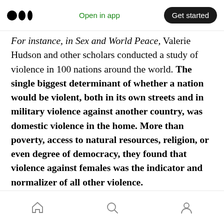Medium logo | Open in app | Get started
For instance, in Sex and World Peace, Valerie Hudson and other scholars conducted a study of violence in 100 nations around the world. The single biggest determinant of whether a nation would be violent, both in its own streets and in military violence against another country, was domestic violence in the home. More than poverty, access to natural resources, religion, or even degree of democracy, they found that violence against females was the indicator and normalizer of all other violence.
Home | Search | Profile